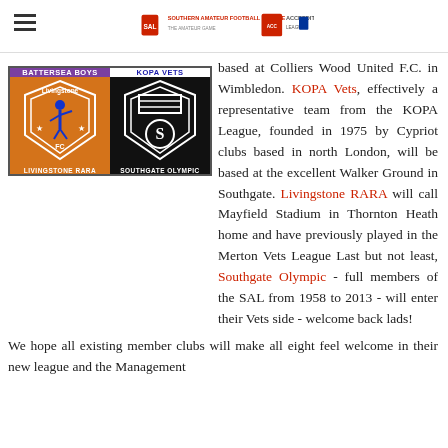Southern Amateur Football League | Accredited League
[Figure (illustration): 2x2 grid showing four club badges/names: Battersea Boys (purple, top-left), Kopa Vets (white/blue, top-right), Livingstone RARA (orange with Livingstone FC shield, bottom-left), Southgate Olympic (black with shield logo, bottom-right)]
based at Colliers Wood United F.C. in Wimbledon. KOPA Vets, effectively a representative team from the KOPA League, founded in 1975 by Cypriot clubs based in north London, will be based at the excellent Walker Ground in Southgate. Livingstone RARA will call Mayfield Stadium in Thornton Heath home and have previously played in the Merton Vets League Last but not least, Southgate Olympic - full members of the SAL from 1958 to 2013 - will enter their Vets side - welcome back lads!
We hope all existing member clubs will make all eight feel welcome in their new league and the Management